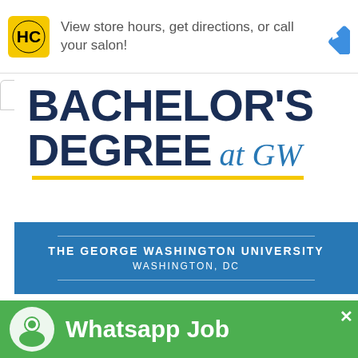[Figure (infographic): Top ad banner: HC logo (yellow/black), text 'View store hours, get directions, or call your salon!', blue diamond navigation icon]
[Figure (infographic): George Washington University ad: large dark blue text 'BACHELOR'S DEGREE at GW' with gold underline, blue banner with 'THE GEORGE WASHINGTON UNIVERSITY' and 'WASHINGTON, DC']
[Figure (infographic): WhatsApp Job ad strip: green background, WhatsApp circular icon, bold white text 'Whatsapp Job', close X button]